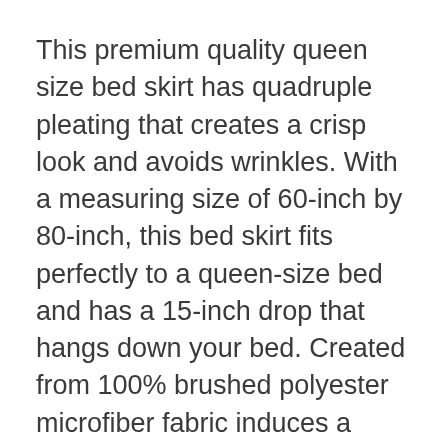This premium quality queen size bed skirt has quadruple pleating that creates a crisp look and avoids wrinkles. With a measuring size of 60-inch by 80-inch, this bed skirt fits perfectly to a queen-size bed and has a 15-inch drop that hangs down your bed. Created from 100% brushed polyester microfiber fabric induces a royal look to your decor.
This material is naturally repellent to water and stains making it easy to maintain this cover. Superior quality makes prevents the fabric from shrink due to wash. Being